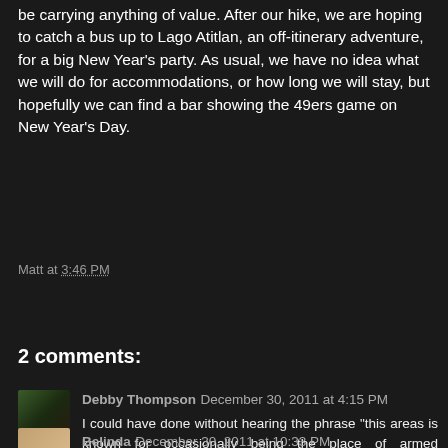be carrying anything of value. After our hike, we are hoping to catch a bus up to Lago Atitlan, an off-itinerary adventure, for a big New Year's party. As usual, we have no idea what we will do for accommodations, or how long we will stay, but hopefully we can find a bar showing the 49ers game on New Year's Day.
Matt at 3:46 PM
Share
2 comments:
Debby Thompson December 30, 2011 at 4:15 PM
I could have done without hearing the phrase "this areas is known for occasionally being the place of armed robberies..."
Reply
Belinda December 30, 2011 at 10:33 PM